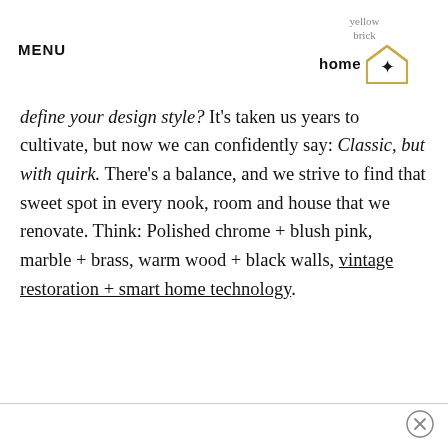MENU
[Figure (logo): Yellow Brick Home logo with house outline and star icon]
define your design style? It's taken us years to cultivate, but now we can confidently say: Classic, but with quirk. There's a balance, and we strive to find that sweet spot in every nook, room and house that we renovate. Think: Polished chrome + blush pink, marble + brass, warm wood + black walls, vintage restoration + smart home technology.